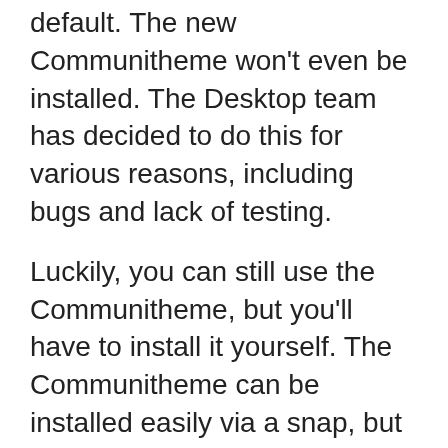default. The new Communitheme won't even be installed. The Desktop team has decided to do this for various reasons, including bugs and lack of testing.
Luckily, you can still use the Communitheme, but you'll have to install it yourself. The Communitheme can be installed easily via a snap, but you can always install it manually by following the instructions below.
You can actually try the new theme (Communitheme) right now if you're using Ubuntu 17.10 or Ubuntu 18.04. You can do that by: